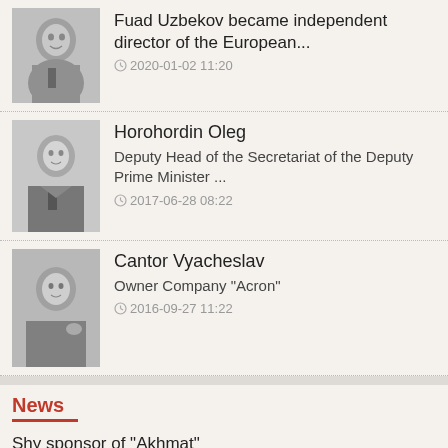Fuad Uzbekov became independent director of the European... 2020-01-02 11:20
Horohordin Oleg, Deputy Head of the Secretariat of the Deputy Prime Minister ... 2017-06-28 08:22
Cantor Vyacheslav, Owner Company "Acron" 2016-09-27 11:22
News
Shy sponsor of "Akhmat" 2020-12-09 19:00
Welcome to Nigeria Russian Online Casinos 2020-10-11 17:47